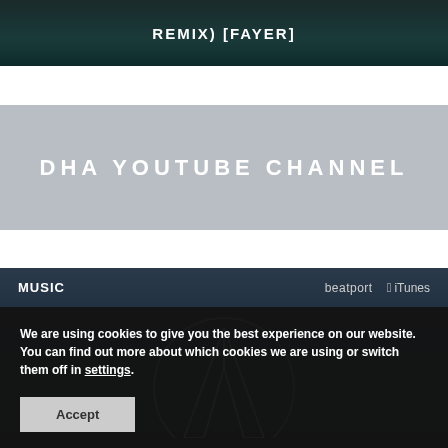[Figure (screenshot): Dark teal/green top banner with white bold uppercase text reading 'REMIX) [FAYER]']
[Figure (screenshot): Gray banner with white bold uppercase text reading 'DHA YOUTUBE CHANNEL']
[Figure (screenshot): Dark blue music section with 'MUSIC' label on left, 'beatport' and 'iTunes' logos on right, and a white geometric logo (circle with angular shapes) in the center]
We are using cookies to give you the best experience on our website.
You can find out more about which cookies we are using or switch them off in settings.
Accept